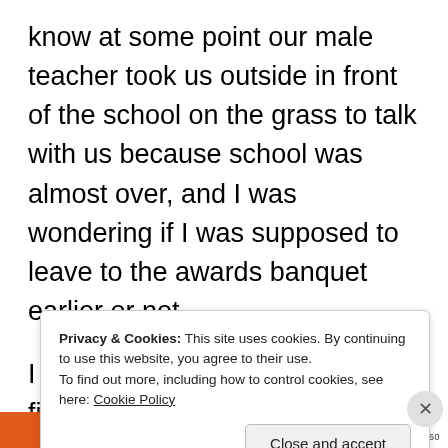know at some point our male teacher took us outside in front of the school on the grass to talk with us because school was almost over, and I was wondering if I was supposed to leave to the awards banquet earlier or not.
I waited for a while and then I finally asked the teacher and he told me that the awards banquet was already going on and almost
Privacy & Cookies: This site uses cookies. By continuing to use this website, you agree to their use. To find out more, including how to control cookies, see here: Cookie Policy